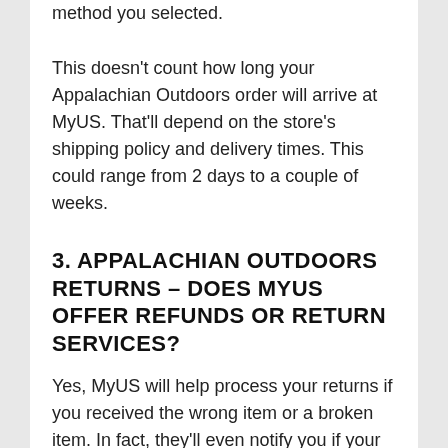method you selected.
This doesn't count how long your Appalachian Outdoors order will arrive at MyUS. That'll depend on the store's shipping policy and delivery times. This could range from 2 days to a couple of weeks.
3. APPALACHIAN OUTDOORS RETURNS – DOES MYUS OFFER REFUNDS OR RETURN SERVICES?
Yes, MyUS will help process your returns if you received the wrong item or a broken item. In fact, they'll even notify you if your purchases arrive damaged at their facility, so you don't have to wait for your order to arrive at your